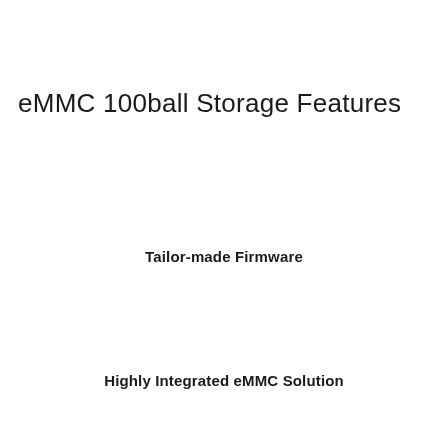eMMC 100ball Storage Features
Tailor-made Firmware
Highly Integrated eMMC Solution